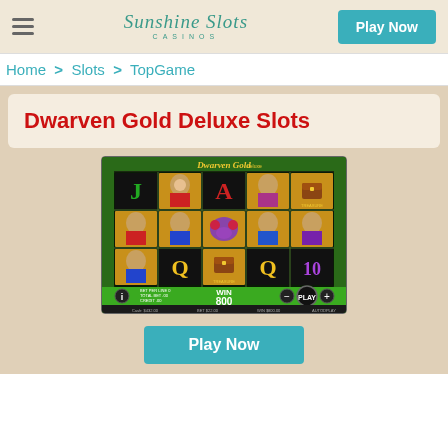Sunshine Slots Casinos — Play Now
Home > Slots > TopGame
Dwarven Gold Deluxe Slots
[Figure (screenshot): Screenshot of the Dwarven Gold Deluxe slot machine game showing a 5x3 reel grid with dwarf characters, playing card symbols (J, A, Q), treasure chest, and WIN 800 display with a PLAY button.]
Play Now